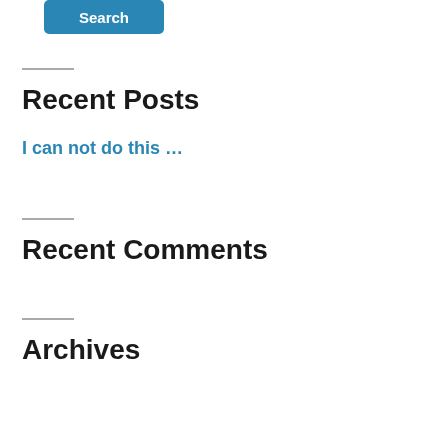[Figure (other): Search button, teal/blue rounded rectangle with white bold text 'Search']
Recent Posts
I can not do this …
Recent Comments
Archives